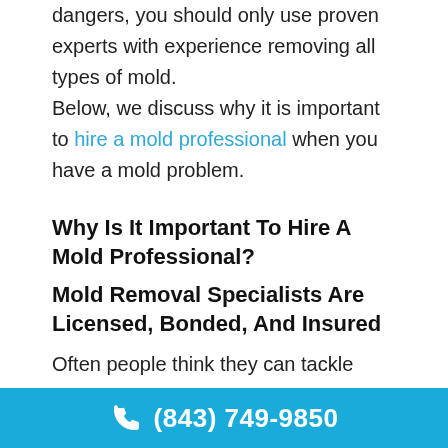dangers, you should only use proven experts with experience removing all types of mold. Below, we discuss why it is important to hire a mold professional when you have a mold problem.
Why Is It Important To Hire A Mold Professional?
Mold Removal Specialists Are Licensed, Bonded, And Insured
Often people think they can tackle their mold problem when in reality, it's much more
(843) 749-9850